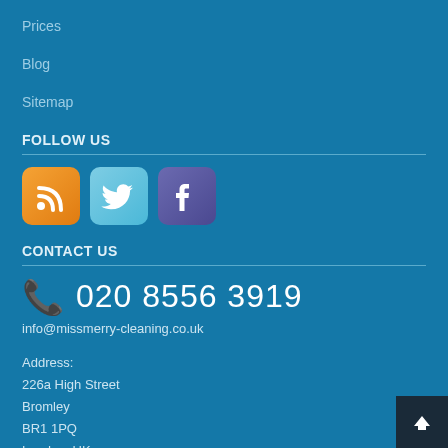Prices
Blog
Sitemap
FOLLOW US
[Figure (logo): Three social media icons: RSS feed (orange), Twitter (light blue), Facebook (purple/indigo)]
CONTACT US
020 8556 3919
info@missmerry-cleaning.co.uk
Address:
226a High Street
Bromley
BR1 1PQ
London, UK